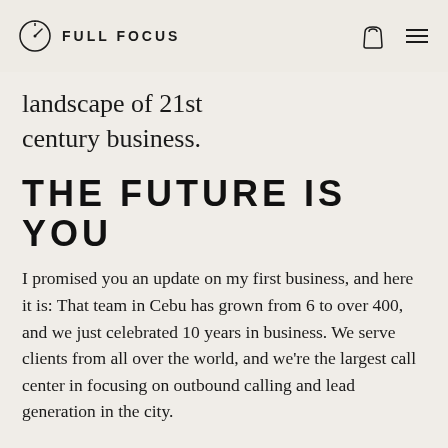FULL FOCUS
landscape of 21st century business.
THE FUTURE IS YOU
I promised you an update on my first business, and here it is: That team in Cebu has grown from 6 to over 400, and we just celebrated 10 years in business. We serve clients from all over the world, and we're the largest call center in focusing on outbound calling and lead generation in the city.